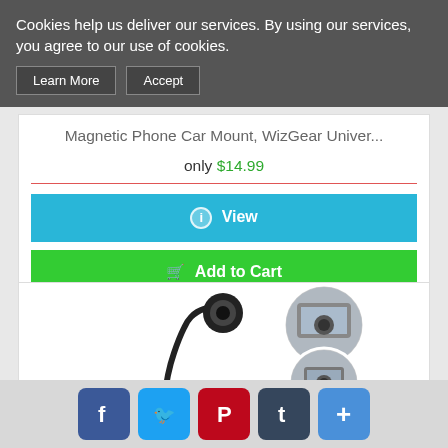Cookies help us deliver our services. By using our services, you agree to our use of cookies.
Learn More | Accept
Magnetic Phone Car Mount, WizGear Univer...
only $14.99
View
Add to Cart
[Figure (photo): Magnetic phone car mount product photo showing the mount with flexible arm and suction base, with two circular inset photos showing installation]
Social share buttons: Facebook, Twitter, Pinterest, Tumblr, More